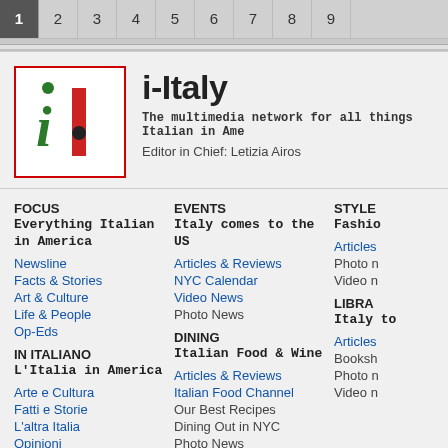1 2 3 4 5 6 7 8 9
[Figure (logo): i-Italy logo: stylized italic green 'i' with red dot above, red vertical bar, black dot on bar, red border square]
i-Italy
The multimedia network for all things Italian in America
Editor in Chief: Letizia Airos
FOCUS
Everything Italian in America
Newsline
Facts & Stories
Art & Culture
Life & People
Op-Eds
IN ITALIANO
L'Italia in America
Arte e Cultura
Fatti e Storie
L'altra Italia
Opinioni
EVENTS
Italy comes to the US
Articles & Reviews
NYC Calendar
Video News
Photo News
DINING
Italian Food & Wine
Articles & Reviews
Italian Food Channel
Our Best Recipes
Dining Out in NYC
Photo News
STYLE
Fashion
Articles
Photo n
Video n
LIBRA
Italy to
Articles
Booksh
Photo n
Video n